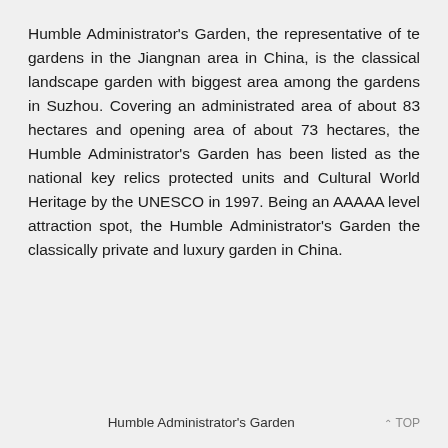Humble Administrator's Garden, the representative of te gardens in the Jiangnan area in China, is the classical landscape garden with biggest area among the gardens in Suzhou. Covering an administrated area of about 83 hectares and opening area of about 73 hectares, the Humble Administrator's Garden has been listed as the national key relics protected units and Cultural World Heritage by the UNESCO in 1997. Being an AAAAA level attraction spot, the Humble Administrator's Garden the classically private and luxury garden in China.
Humble Administrator's Garden